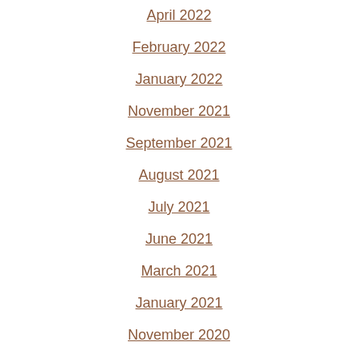April 2022
February 2022
January 2022
November 2021
September 2021
August 2021
July 2021
June 2021
March 2021
January 2021
November 2020
September 2020
August 2020